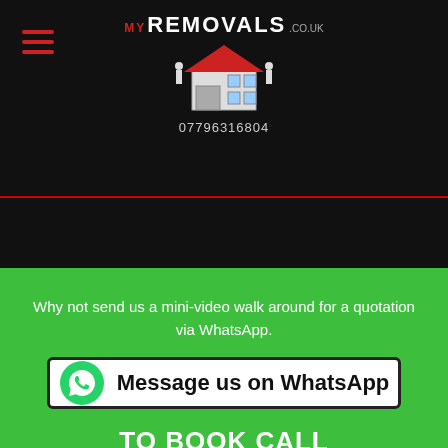[Figure (logo): MyRemovals.co.uk logo with house graphic and phone number 07796316804]
Why not send us a mini-video walk around for a quotation via WhatsApp.
Message us on WhatsApp
TO BOOK CALL
07796 316804